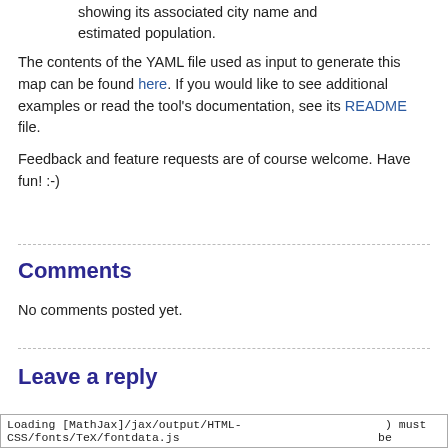showing its associated city name and estimated population.
The contents of the YAML file used as input to generate this map can be found here. If you would like to see additional examples or read the tool's documentation, see its README file.
Feedback and feature requests are of course welcome. Have fun! :-)
Comments
No comments posted yet.
Leave a reply
Loading [MathJax]/jax/output/HTML-CSS/fonts/TeX/fontdata.js ) must be